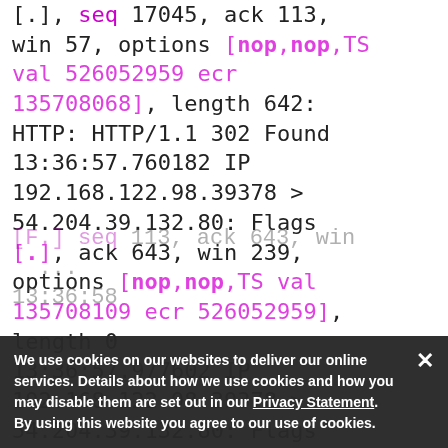[.], seq 17045, ack 113, win 57, options [nop,nop,TS val 526052959 ecr 135708068], length 642: HTTP: HTTP/1.1 302 Found
13:36:57.760182 IP 192.168.122.98.39378 > 54.204.39.132.80: Flags [.], ack 643, win 239, options [nop,nop,TS val 135708109 ecr 526052959], length 0
13:36:57.977602 IP 192.168.122.98.39378 > 54.204.39.132.80: Flags
[F.], seq 113, ack 643, win 239, options [nop,nop,TS val 135708127 ecr 526052959], length 0
13:36:58
We use cookies on our websites to deliver our online services. Details about how we use cookies and how you may disable them are set out in our Privacy Statement. By using this website you agree to our use of cookies.